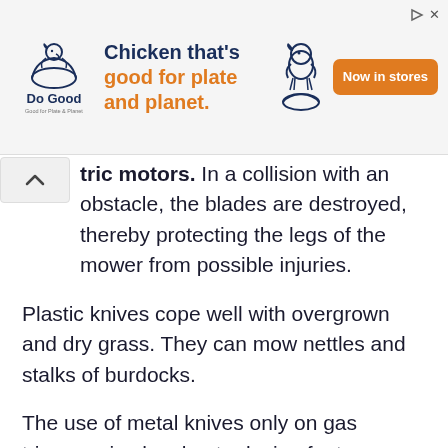[Figure (other): Advertisement banner for 'Do Good' chicken brand. Shows a chicken logo on the left, headline text 'Chicken that's good for plate and planet.' in the center with an orange accent, a chicken character icon, and an orange 'Now in stores' CTA button on the right.]
tric motors. In a collision with an obstacle, the blades are destroyed, thereby protecting the legs of the mower from possible injuries.
Plastic knives cope well with overgrown and dry grass. They can mow nettles and stalks of burdocks.
The use of metal knives only on gas trimmers is also due to design features.
1. The direct design of the bar increases the distance to the legs, which ensures